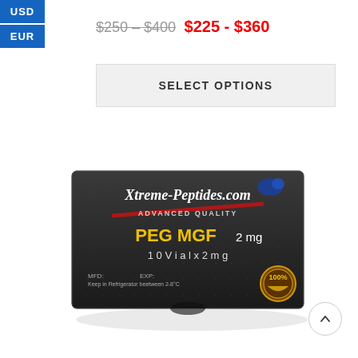USD
EUR
$250 - $400  $225 - $360
SELECT OPTIONS
[Figure (photo): Product box for Xtreme-Peptides.com PEG MGF 2mg, 10 Vial x 2mg. Dark grey/black box with white and yellow text, red stripe logo, and a 100% quality seal badge.]